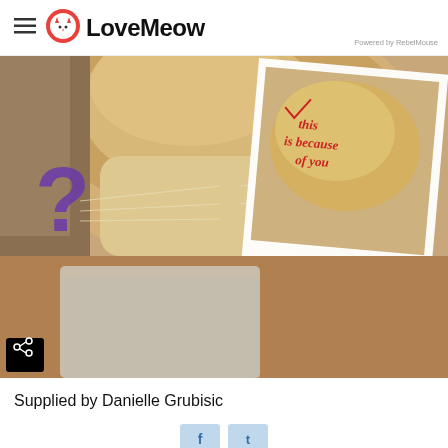LoveMeow — Powered by RebelMouse
[Figure (photo): Close-up photo of a cat's face with a printed photo of a cat placed in front. The printed photo has red handwritten text reading 'this is because of you'. A purple question mark is drawn on the left side. A black share button is in the bottom-left corner of the image.]
Supplied by Danielle Grubisic